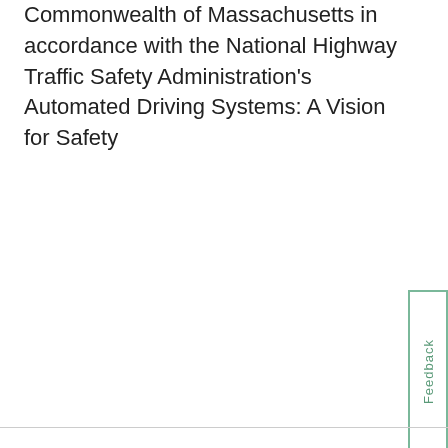Commonwealth of Massachusetts in accordance with the National Highway Traffic Safety Administration's Automated Driving Systems: A Vision for Safety